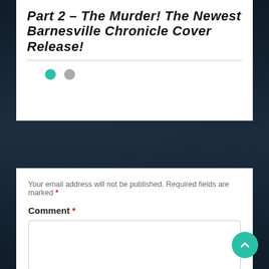Part 2 – The Murder! The Newest Barnesville Chronicle Cover Release!
[Figure (other): Two navigation dots: one teal (active) and one gray]
[Figure (other): Dark spooky background with tree silhouettes]
Your email address will not be published. Required fields are marked *
Comment *
[Figure (other): Comment text area input box]
[Figure (other): Teal back-to-top button with upward chevron arrow]